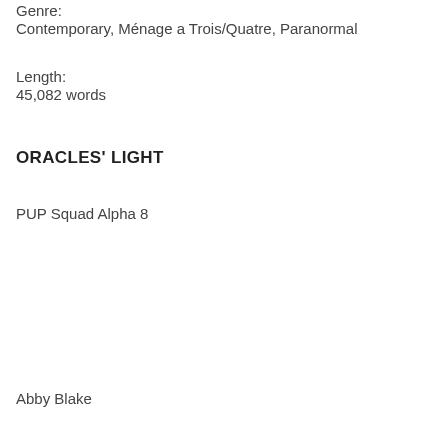Genre:
Contemporary, Ménage a Trois/Quatre, Paranormal
Length:
45,082 words
ORACLES' LIGHT
PUP Squad Alpha 8
Abby Blake